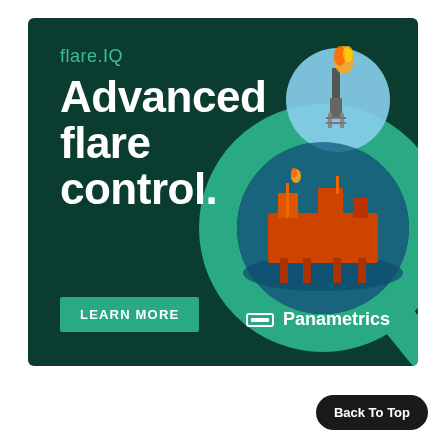[Figure (illustration): Dark green advertisement banner for Panametrics flare.IQ product. Features large teal 'IQ' magnifier graphic on the right side with two circular photo insets: upper circle shows a gas flare stack with orange flame on blue sky background, lower circle shows an orange offshore oil platform reflected in water. Left side has text content. Bottom has 'LEARN MORE' teal button and Panametrics logo with icon.]
flare.IQ
Advanced flare control.
LEARN MORE
Panametrics
Back To Top